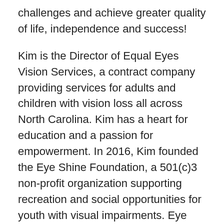challenges and achieve greater quality of life, independence and success!
Kim is the Director of Equal Eyes Vision Services, a contract company providing services for adults and children with vision loss all across North Carolina. Kim has a heart for education and a passion for empowerment. In 2016, Kim founded the Eye Shine Foundation, a 501(c)3 non-profit organization supporting recreation and social opportunities for youth with visual impairments. Eye Shine Foundation has a mission of fun with an outcome of improving social skills, quality of life and future employability for youth with vision loss.
In 2018, Kim began the first VisioBook repair center in North America when the original manufacturer of the VisioBook went out of business. She recognized a need and found a way to fix a device that was no longer...